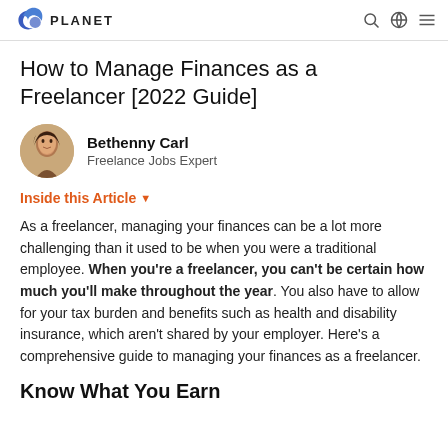PLANET
How to Manage Finances as a Freelancer [2022 Guide]
Bethenny Carl
Freelance Jobs Expert
Inside this Article ▾
As a freelancer, managing your finances can be a lot more challenging than it used to be when you were a traditional employee. When you're a freelancer, you can't be certain how much you'll make throughout the year. You also have to allow for your tax burden and benefits such as health and disability insurance, which aren't shared by your employer. Here's a comprehensive guide to managing your finances as a freelancer.
Know What You Earn